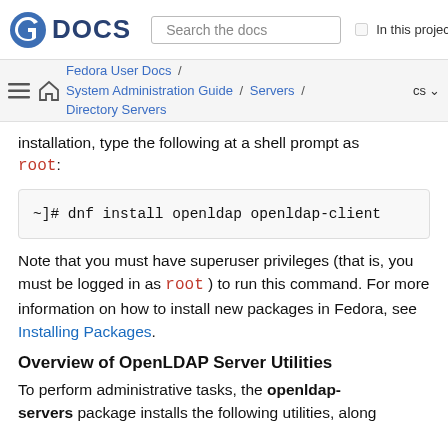DOCS | Search the docs | In this project
Fedora User Docs / System Administration Guide / Servers / Directory Servers | cs
installation, type the following at a shell prompt as root:
~]# dnf install openldap openldap-client
Note that you must have superuser privileges (that is, you must be logged in as root ) to run this command. For more information on how to install new packages in Fedora, see Installing Packages.
Overview of OpenLDAP Server Utilities
To perform administrative tasks, the openldap-servers package installs the following utilities, along